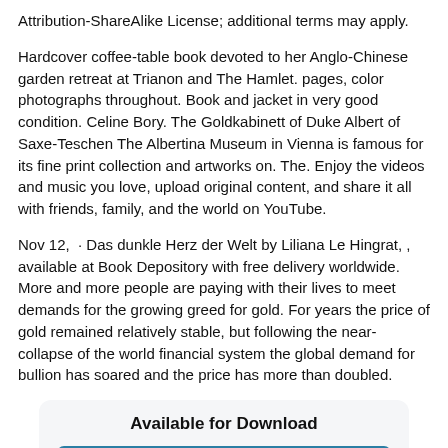Attribution-ShareAlike License; additional terms may apply.
Hardcover coffee-table book devoted to her Anglo-Chinese garden retreat at Trianon and The Hamlet. pages, color photographs throughout. Book and jacket in very good condition. Celine Bory. The Goldkabinett of Duke Albert of Saxe-Teschen The Albertina Museum in Vienna is famous for its fine print collection and artworks on. The. Enjoy the videos and music you love, upload original content, and share it all with friends, family, and the world on YouTube.
Nov 12,  · Das dunkle Herz der Welt by Liliana Le Hingrat, , available at Book Depository with free delivery worldwide. More and more people are paying with their lives to meet demands for the growing greed for gold. For years the price of gold remained relatively stable, but following the near-collapse of the world financial system the global demand for bullion has soared and the price has more than doubled.
Available for Download
Download PDF
Download EPUB
Download FB2